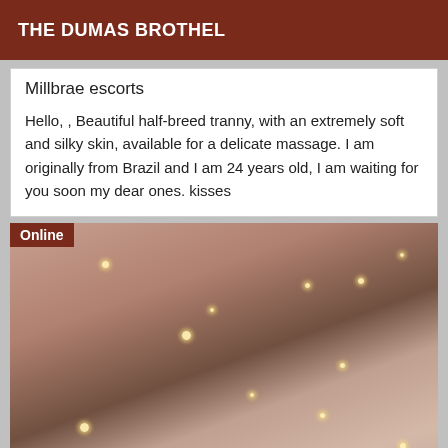THE DUMAS BROTHEL
Millbrae escorts
Hello, , Beautiful half-breed tranny, with an extremely soft and silky skin, available for a delicate massage. I am originally from Brazil and I am 24 years old, I am waiting for you soon my dear ones. kisses
[Figure (photo): Photo of a person with blonde hair in a dimly lit room with sparkle/bokeh light effects. An 'Online' badge in brown appears in the top-left corner of the photo.]